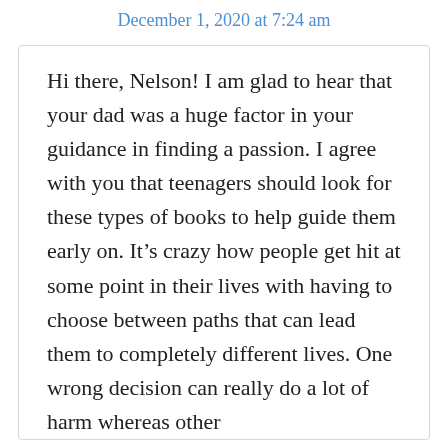December 1, 2020 at 7:24 am
Hi there, Nelson! I am glad to hear that your dad was a huge factor in your guidance in finding a passion. I agree with you that teenagers should look for these types of books to help guide them early on. It’s crazy how people get hit at some point in their lives with having to choose between paths that can lead them to completely different lives. One wrong decision can really do a lot of harm whereas other